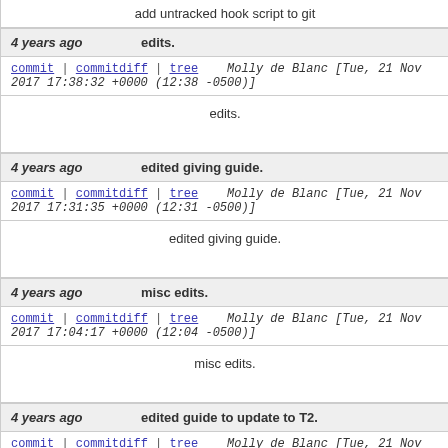add untracked hook script to git
4 years ago    edits.
commit | commitdiff | tree    Molly de Blanc [Tue, 21 Nov 2017 17:38:32 +0000 (12:38 -0500)]
edits.
4 years ago    edited giving guide.
commit | commitdiff | tree    Molly de Blanc [Tue, 21 Nov 2017 17:31:35 +0000 (12:31 -0500)]
edited giving guide.
4 years ago    misc edits.
commit | commitdiff | tree    Molly de Blanc [Tue, 21 Nov 2017 17:04:17 +0000 (12:04 -0500)]
misc edits.
4 years ago    edited guide to update to T2.
commit | commitdiff | tree    Molly de Blanc [Tue, 21 Nov 2017 16:13:23 +0000 (11:13 -0500)]